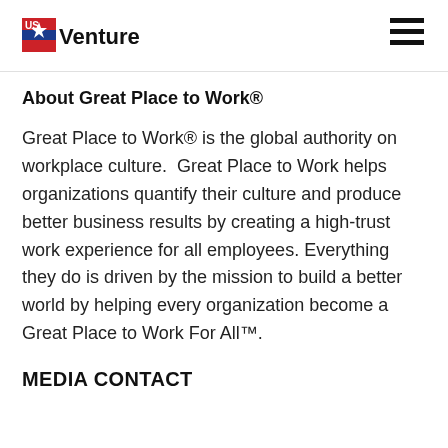US Venture [logo] [hamburger menu]
About Great Place to Work®
Great Place to Work® is the global authority on workplace culture.  Great Place to Work helps organizations quantify their culture and produce better business results by creating a high-trust work experience for all employees. Everything they do is driven by the mission to build a better world by helping every organization become a Great Place to Work For All™.
MEDIA CONTACT